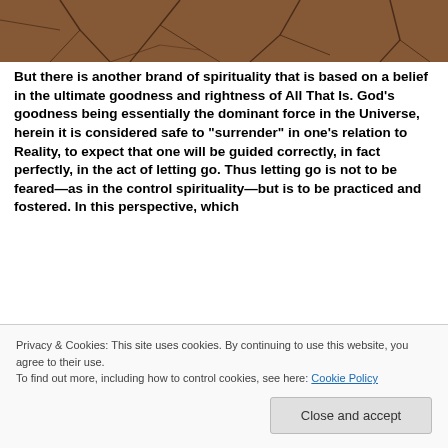[Figure (photo): Close-up photo of cracked dry earth/mud, brown tones, visible at top of page]
But there is another brand of spirituality that is based on a belief in the ultimate goodness and rightness of All That Is. God’s goodness being essentially the dominant force in the Universe, herein it is considered safe to “surrender” in one’s relation to Reality, to expect that one will be guided correctly, in fact perfectly, in the act of letting go. Thus letting go is not to be feared—as in the control spirituality—but is to be practiced and fostered. In this perspective, which
Privacy & Cookies: This site uses cookies. By continuing to use this website, you agree to their use.
To find out more, including how to control cookies, see here: Cookie Policy